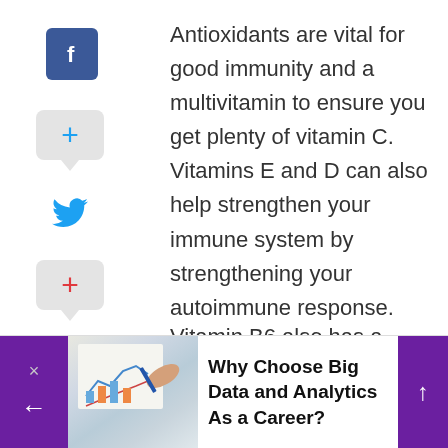[Figure (infographic): Social media share icons sidebar: Facebook icon (blue square with f), plus button in gray rounded box, Twitter bird icon (blue), plus button in gray rounded box (red plus), Pinterest P icon (red)]
Antioxidants are vital for good immunity and a multivitamin to ensure you get plenty of vitamin C. Vitamins E and D can also help strengthen your immune system by strengthening your autoimmune response.
Vitamin B6 also has a supporting role in immunity since it’s involved in several biochemical reactions vital for immune
[Figure (photo): Thumbnail photo of a hand holding a pen over charts and graphs on paper]
Why Choose Big Data and Analytics As a Career?